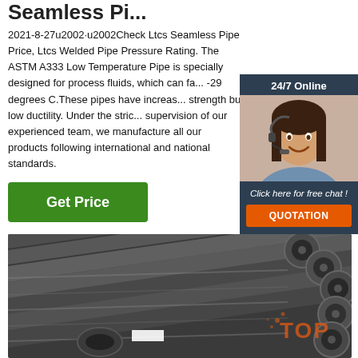Seamless Pi...
2021-8-27u2002·u2002Check Ltcs Seamless Pipe Price, Ltcs Welded Pipe Pressure Rating. The ASTM A333 Low Temperature Pipe is specially designed for process fluids, which can fa... -29 degrees C.These pipes have increas... strength but low ductility. Under the stric... supervision of our experienced team, we manufacture all our products following international and national standards.
[Figure (infographic): Green Get Price button]
[Figure (photo): Customer service representative with headset and 24/7 Online label, Click here for free chat, QUOTATION button]
[Figure (photo): Stacked seamless steel pipes viewed from the side, with circular pipe ends visible on right, and TOP watermark logo]